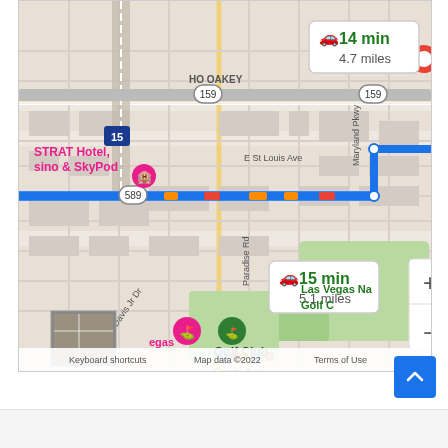[Figure (map): Google Maps screenshot showing a route in Las Vegas, NV. Two route options are displayed: one showing '14 min / 4.7 miles' (top route along W Oakey Blvd / route 159) and a second showing '15 min / 5.1 miles' (highlighted in blue along W Sahara Ave / route 589). The map shows landmarks including STRAT Hotel Casino & SkyPod, Las Vegas National Golf Club, Sammy Davis Jr Dr, Paradise Rd, Maryland Pkwy, and E St Louis Ave. A Google watermark, zoom controls (+/-), map data copyright 2022, Keyboard shortcuts, and Terms of Use labels are visible at the bottom.]